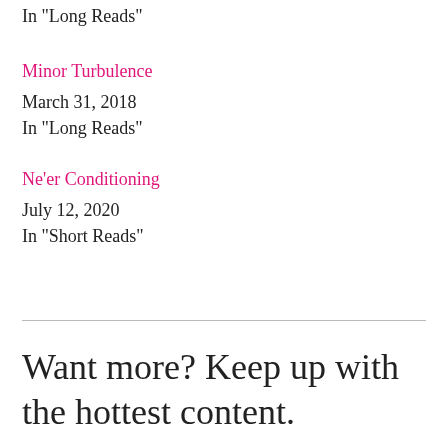In "Long Reads"
Minor Turbulence
March 31, 2018
In "Long Reads"
Ne'er Conditioning
July 12, 2020
In "Short Reads"
Want more? Keep up with the hottest content.